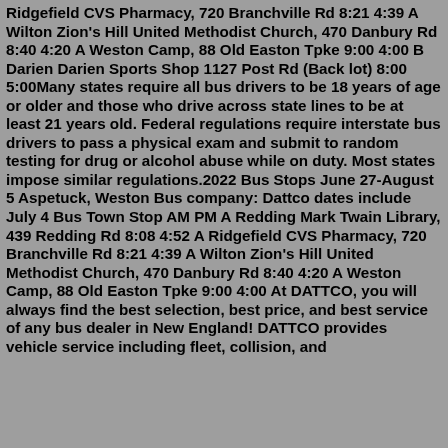Ridgefield CVS Pharmacy, 720 Branchville Rd 8:21 4:39 A Wilton Zion's Hill United Methodist Church, 470 Danbury Rd 8:40 4:20 A Weston Camp, 88 Old Easton Tpke 9:00 4:00 B Darien Darien Sports Shop 1127 Post Rd (Back lot) 8:00 5:00Many states require all bus drivers to be 18 years of age or older and those who drive across state lines to be at least 21 years old. Federal regulations require interstate bus drivers to pass a physical exam and submit to random testing for drug or alcohol abuse while on duty. Most states impose similar regulations.2022 Bus Stops June 27-August 5 Aspetuck, Weston Bus company: Dattco dates include July 4 Bus Town Stop AM PM A Redding Mark Twain Library, 439 Redding Rd 8:08 4:52 A Ridgefield CVS Pharmacy, 720 Branchville Rd 8:21 4:39 A Wilton Zion's Hill United Methodist Church, 470 Danbury Rd 8:40 4:20 A Weston Camp, 88 Old Easton Tpke 9:00 4:00 At DATTCO, you will always find the best selection, best price, and best service of any bus dealer in New England! DATTCO provides vehicle service including fleet, collision, and